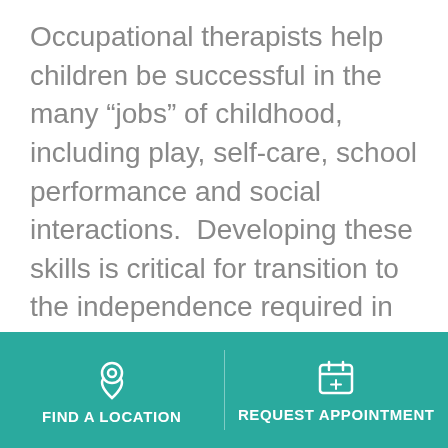Occupational therapists help children be successful in the many “jobs” of childhood, including play, self-care, school performance and social interactions.  Developing these skills is critical for transition to the independence required in adulthood. Pediatric occupational therapists address many skills needed for success in a child’s daily life.  Evaluation, intervention and consultation may be provided in the following areas:
[Figure (infographic): Teal footer bar with two buttons: 'FIND A LOCATION' with a location pin icon on the left, and 'REQUEST APPOINTMENT' with a calendar icon on the right, separated by a vertical divider.]